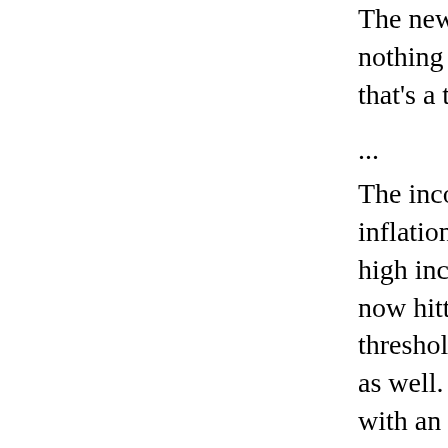The new legislation is nothing for the longer that's a tax cut except
...
The income thresholds inflation, so a provision high income taxpayers now hitting upper-mid thresholds were lifted as well. Now, they hav with an estimated reve
Low tax rates of 15 pe and no tax at all in 200 brackets -- were to ex and Republican congr extension, to 2010, at
...
And now all the other